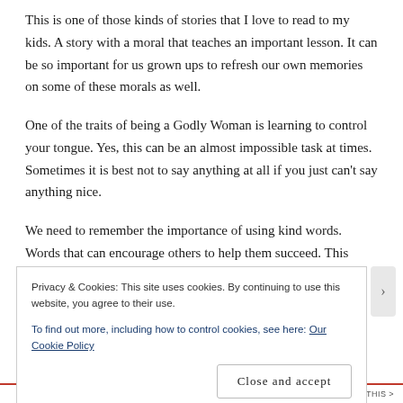This is one of those kinds of stories that I love to read to my kids. A story with a moral that teaches an important lesson. It can be so important for us grown ups to refresh our own memories on some of these morals as well.
One of the traits of being a Godly Woman is learning to control your tongue. Yes, this can be an almost impossible task at times. Sometimes it is best not to say anything at all if you just can't say anything nice.
We need to remember the importance of using kind words. Words that can encourage others to help them succeed. This story is an
Privacy & Cookies: This site uses cookies. By continuing to use this website, you agree to their use.
To find out more, including how to control cookies, see here: Our Cookie Policy